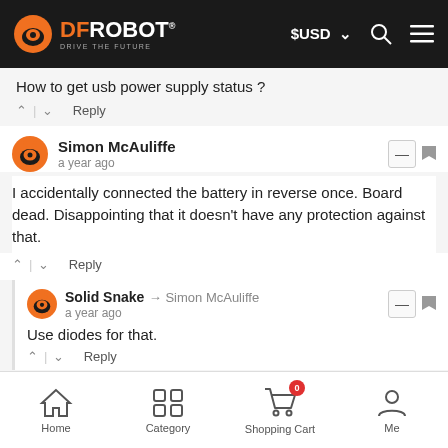DFRobot - Drive The Future | $USD | Search | Menu
How to get usb power supply status ?
↑ | ↓  Reply
Simon McAuliffe
a year ago
I accidentally connected the battery in reverse once. Board dead. Disappointing that it doesn't have any protection against that.
↑ | ↓  Reply
Solid Snake → Simon McAuliffe
a year ago
Use diodes for that.
↑ | ↓  Reply
Vyacheslav R
Home | Category | Shopping Cart (0) | Me